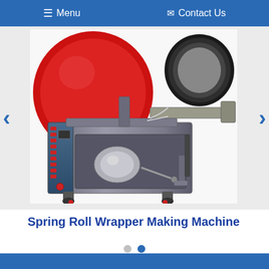☰ Menu   ✉ Contact Us
[Figure (photo): Spring Roll Wrapper Making Machine — a large industrial food processing machine with a prominent red circular disc on the top left, a dark circular element on the upper right, metal body with control panel on the left side with red buttons, mechanical components in the center, and the unit rests on casters/wheels.]
Spring Roll Wrapper Making Machine